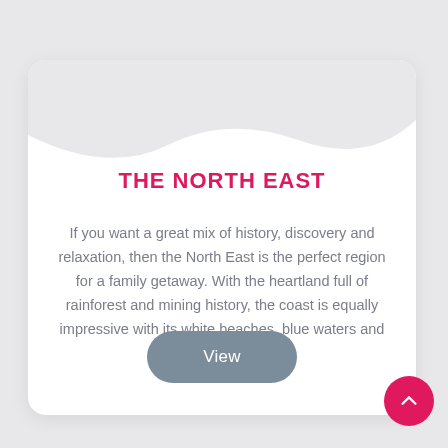THE NORTH EAST
If you want a great mix of history, discovery and relaxation, then the North East is the perfect region for a family getaway. With the heartland full of rainforest and mining history, the coast is equally impressive with its white beaches, blue waters and stunning scenery.
View